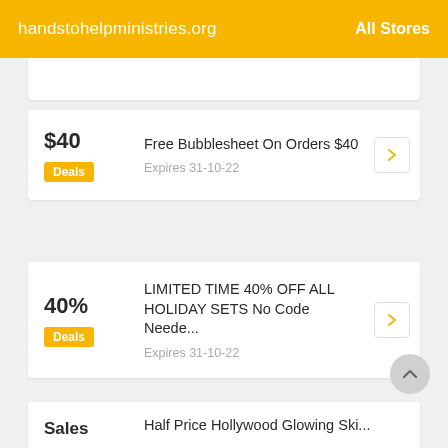handstohelpministries.org   All Stores
$40 | Deals | Free Bubblesheet On Orders $40 | Expires 31-10-22
40% | Deals | LIMITED TIME 40% OFF ALL HOLIDAY SETS No Code Neede... | Expires 31-10-22
Sales | Half Price Hollywood Glowing Skin Tanor... Make Off